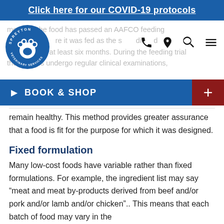Click here for our COVID-19 protocols
meaning the food has passed an AAFCO feeding trial where it was fed as the sole diet for dogs for at least six months. During the feeding trial the animals undergo regular clinical examinations,
remain healthy. This method provides greater assurance that a food is fit for the purpose for which it was designed.
Fixed formulation
Many low-cost foods have variable rather than fixed formulations. For example, the ingredient list may say “meat and meat by-products derived from beef and/or pork and/or lamb and/or chicken”.. This means that each batch of food may vary in the